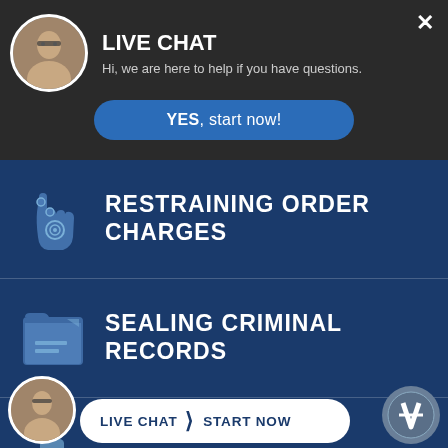[Figure (screenshot): Live chat popup header with avatar photo of a woman with glasses, title LIVE CHAT, subtitle text, and a YES start now button]
LIVE CHAT
Hi, we are here to help if you have questions.
YES, start now!
RESTRAINING ORDER CHARGES
SEALING CRIMINAL RECORDS
SEX CRIMES
LIVE CHAT  START NOW